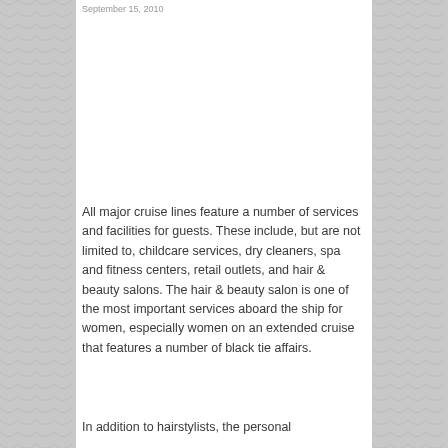September 15, 2010
All major cruise lines feature a number of services and facilities for guests. These include, but are not limited to, childcare services, dry cleaners, spa and fitness centers, retail outlets, and hair & beauty salons. The hair & beauty salon is one of the most important services aboard the ship for women, especially women on an extended cruise that features a number of black tie affairs.
In addition to hairstylists, the personal